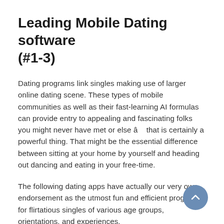Leading Mobile Dating software (#1-3)
Dating programs link singles making use of larger online dating scene. These types of mobile communities as well as their fast-learning AI formulas can provide entry to appealing and fascinating folks you might never have met or else â that is certainly a powerful thing. That might be the essential difference between sitting at your home by yourself and heading out dancing and eating in your free-time.
The following dating apps have actually our very own endorsement as the utmost fun and efficient programs for flirtatious singles of various age groups, orientations, and experiences.
Zoosk